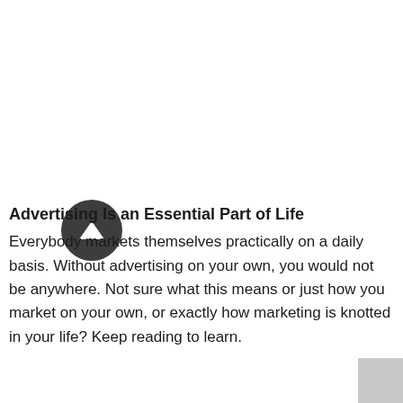Advertising Is an Essential Part of Life
Everybody markets themselves practically on a daily basis. Without advertising on your own, you would not be anywhere. Not sure what this means or just how you market on your own, or exactly how marketing is knotted in your life? Keep reading to learn.